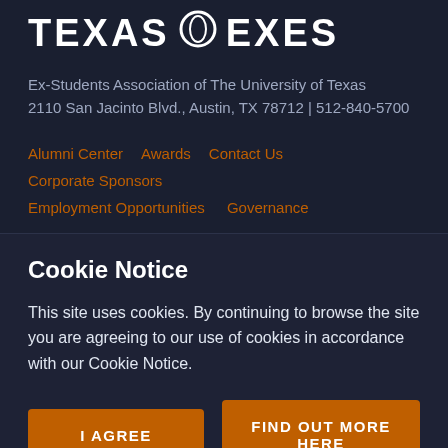[Figure (logo): Texas Exes logo — large bold white text 'TEXAS EXES' with a circle/longhorn icon between the two words]
Ex-Students Association of The University of Texas
2110 San Jacinto Blvd., Austin, TX 78712 | 512-840-5700
Alumni Center
Awards
Contact Us
Corporate Sponsors
Employment Opportunities
Governance
Cookie Notice
This site uses cookies. By continuing to browse the site you are agreeing to our use of cookies in accordance with our Cookie Notice.
I AGREE
FIND OUT MORE HERE